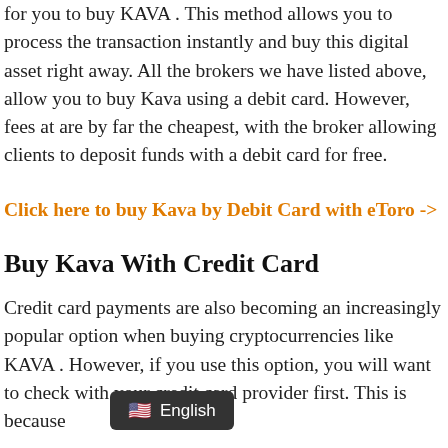for you to buy KAVA .  This method allows you to process the transaction instantly and buy this digital asset right away. All the brokers we have listed above, allow you to buy Kava using a debit card. However, fees at are by far the cheapest, with the broker allowing clients to deposit funds with a debit card for free.
Click here to buy Kava by Debit Card with eToro ->
Buy Kava With Credit Card
Credit card payments are also becoming an increasingly popular option when buying cryptocurrencies like KAVA . However, if you use this option, you will want to check with your credit card provider first. This is because